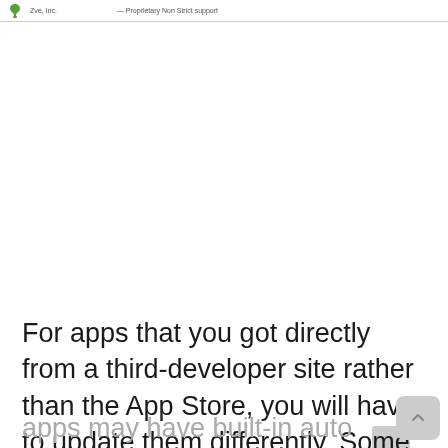Zve, Inc.   Proprietary Non Strict support
For apps that you got directly from a third-developer site rather than the App Store, you will have to update them differently. Some apps may have built-in auto update functionality, while others...